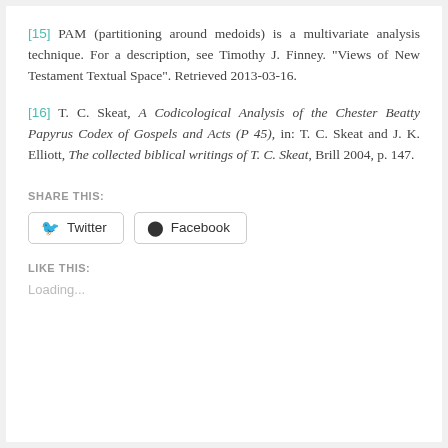[15] PAM (partitioning around medoids) is a multivariate analysis technique. For a description, see Timothy J. Finney. “Views of New Testament Textual Space”. Retrieved 2013-03-16.
[16] T. C. Skeat, A Codicological Analysis of the Chester Beatty Papyrus Codex of Gospels and Acts (P 45), in: T. C. Skeat and J. K. Elliott, The collected biblical writings of T. C. Skeat, Brill 2004, p. 147.
SHARE THIS:
Twitter  Facebook
LIKE THIS:
Loading...